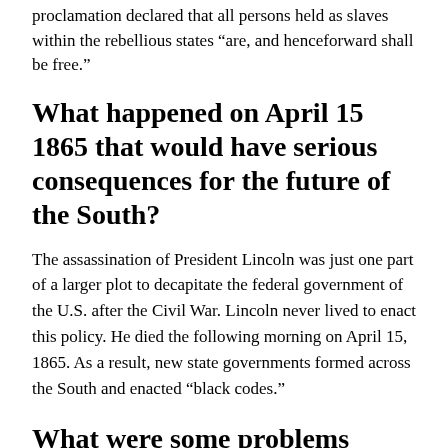proclamation declared that all persons held as slaves within the rebellious states “are, and henceforward shall be free.”
What happened on April 15 1865 that would have serious consequences for the future of the South?
The assassination of President Lincoln was just one part of a larger plot to decapitate the federal government of the U.S. after the Civil War. Lincoln never lived to enact this policy. He died the following morning on April 15, 1865. As a result, new state governments formed across the South and enacted “black codes.”
What were some problems facing the South after the Civil War?